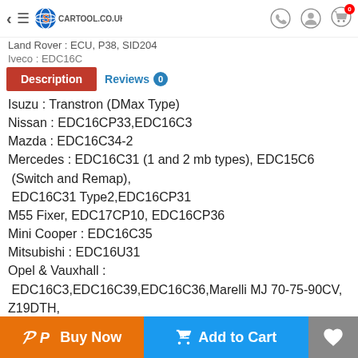Cartool.co.uk — navigation header with logo, WhatsApp, account, and cart icons
Land Rover : ECU, P38, SID204
Iveco : EDC16C
Description | Reviews 0
Isuzu : Transtron (DMax Type)
Nissan : EDC16CP33,EDC16C3
Mazda : EDC16C34-2
Mercedes : EDC16C31 (1 and 2 mb types), EDC15C6 (Switch and Remap), EDC16C31 Type2,EDC16CP31
M55 Fixer, EDC17CP10, EDC16CP36
Mini Cooper : EDC16C35
Mitsubishi : EDC16U31
Opel & Vauxhall : EDC16C3,EDC16C39,EDC16C36,Marelli MJ 70-75-90CV, Z19DTH, Denso,EDC17C18,EDC17C46,Delco
Peugeot : EDC16C34,EDC15C2,SID803A,EDC15C3, SID803,EDC16CP33
Buy Now | Add to Cart | Wishlist